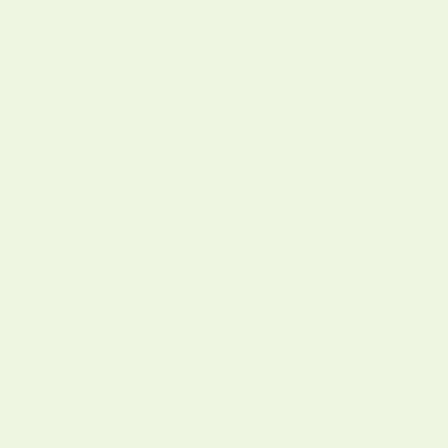impossible, and in the second because to do anything other than to open with the abstract would be to compromise one's goal of starting with the beginning. One cannot ever start at the beginning, but every start is the beginning; one cannot avoid starting at the beginning.